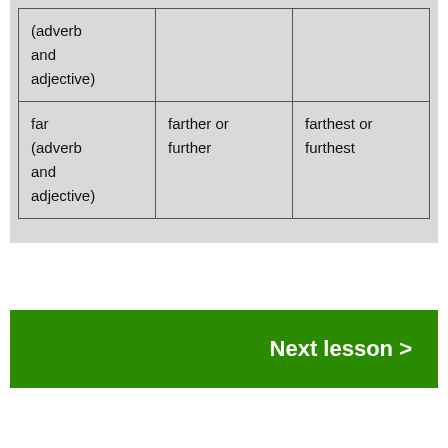| (adverb and adjective) |  |  |
| far (adverb and adjective) | farther or further | farthest or furthest |
Next lesson >